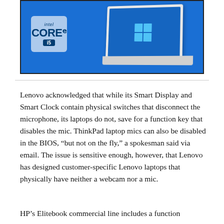[Figure (photo): HP laptop with Intel Core i5 badge on blue background showing Windows 11 interface on screen]
Lenovo acknowledged that while its Smart Display and Smart Clock contain physical switches that disconnect the microphone, its laptops do not, save for a function key that disables the mic. ThinkPad laptop mics can also be disabled in the BIOS, “but not on the fly,” a spokesman said via email. The issue is sensitive enough, however, that Lenovo has designed customer-specific Lenovo laptops that physically have neither a webcam nor a mic.
HP’s Elitebook commercial line includes a function